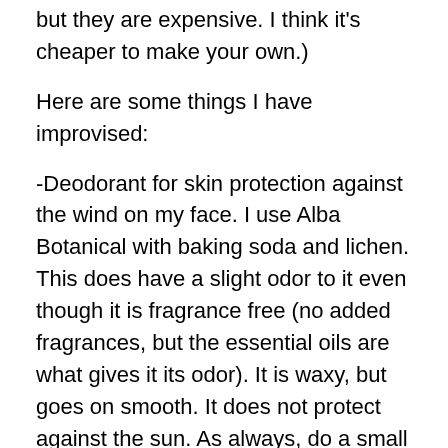but they are expensive.  I think it's cheaper to make your own.)
Here are some things I have improvised:
-Deodorant for skin protection against the wind on my face.  I use Alba Botanical with baking soda and lichen.  This does have a slight odor to it even though it is fragrance free (no added fragrances, but the essential oils are what gives it its odor).  It is waxy, but goes on smooth.  It does not protect against the sun.  As always, do a small test patch to make sure you do not break out.
-Duct tape for slivers.  This is ok, but not always effective for deep slivers.
-Oatmeal for poison ivy.  What I did was break conventional wisdom and scraped the blisters with the dull